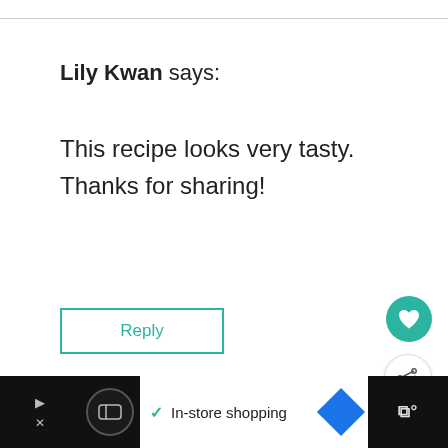Lily Kwan says:
This recipe looks very tasty. Thanks for sharing!
Reply
Leave a Reply